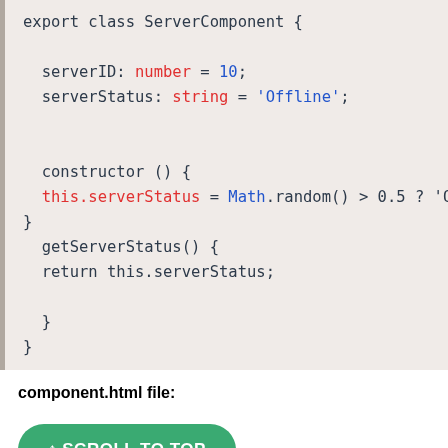[Figure (screenshot): Code block showing TypeScript class ServerComponent with serverID and serverStatus fields, constructor, and getServerStatus method. Syntax highlighted with red for keywords/identifiers and blue for types and string values.]
component.html file:
↑ SCROLL TO TOP